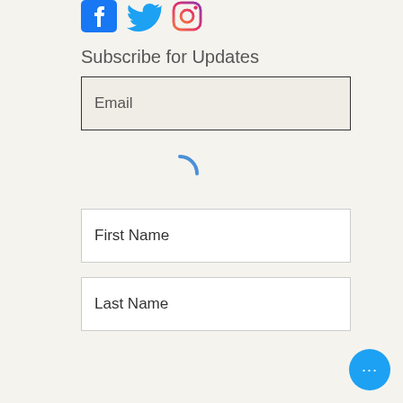[Figure (illustration): Social media icons: Facebook (blue), Twitter (blue bird), Instagram (gradient camera)]
Subscribe for Updates
[Figure (other): Email input field placeholder text: Email]
[Figure (other): Loading spinner arc in blue]
[Figure (other): First Name input field placeholder text: First Name]
[Figure (other): Last Name input field placeholder text: Last Name]
Subscribe Now
[Figure (other): Blue circular chat button with three dots]